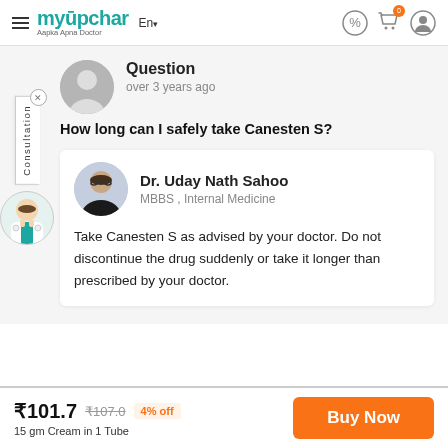myUpchar — Aapka Apna Doctor
Question
over 3 years ago
How long can I safely take Canesten S?
Dr. Uday Nath Sahoo
MBBS , Internal Medicine
Take Canesten S as advised by your doctor. Do not discontinue the drug suddenly or take it longer than prescribed by your doctor.
₹101.7  ₹107.0  4% off
15 gm Cream in 1 Tube